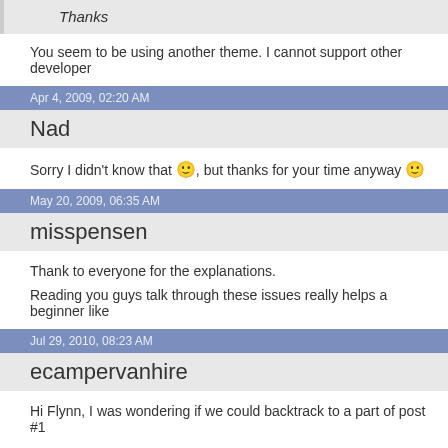Thanks
You seem to be using another theme. I cannot support other developer
Apr 4, 2009, 02:20 AM
Nad
Sorry I didn't know that 🙂, but thanks for your time anyway 🙂
May 20, 2009, 06:35 AM
misspensen
Thank to everyone for the explanations.
Reading you guys talk through these issues really helps a beginner like
Jul 29, 2010, 08:23 AM
ecampervanhire
Hi Flynn, I was wondering if we could backtrack to a part of post #1